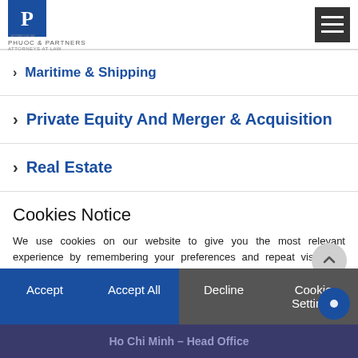Phuoc & Partners Attorneys at Law
Maritime & Shipping
Private Equity And Merger & Acquisition
Real Estate
Retainer Service
Tax
Outbound Investment From Vietnam
Cookies Notice
We use cookies on our website to give you the most relevant experience by remembering your preferences and repeat visits. By clicking “Accept All”, you consent to the use of ALL the cookies. However, you may visit “Cookie Settings” to provide a controlled consent Read More
Ho Chi Minh – Head Office